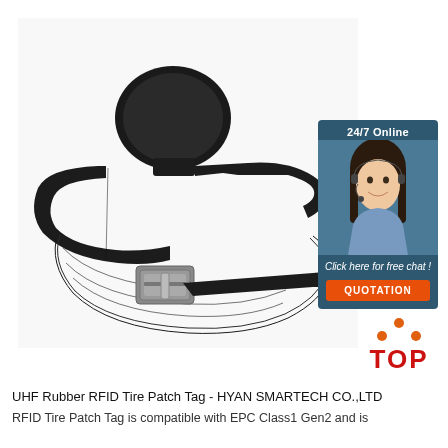[Figure (photo): RFID wristband tire patch tag product photo showing a black rubber RFID device on a black nylon strap with metal buckle, on white background]
[Figure (infographic): Customer service chat widget with '24/7 Online' header, photo of smiling female agent with headset, 'Click here for free chat!' text, and orange QUOTATION button on dark blue background]
[Figure (logo): TOP logo with orange triangle dots above red TOP text]
UHF Rubber RFID Tire Patch Tag - HYAN SMARTECH CO.,LTD
RFID Tire Patch Tag is compatible with EPC Class1 Gen2 and is